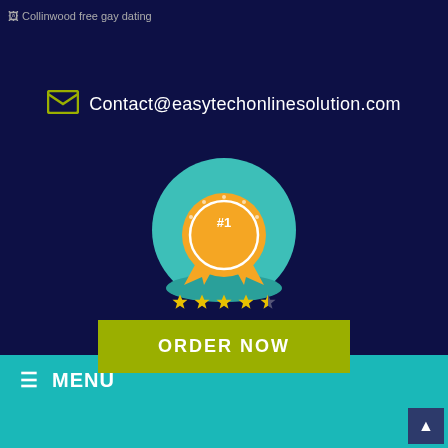[Figure (screenshot): Broken image placeholder with alt text: Collinwood free gay dating]
Contact@easytechonlinesolution.com
[Figure (illustration): Number 1 award badge with orange ribbon on teal circular background]
[Figure (other): 4.5 star rating displayed as yellow stars]
ORDER NOW
MENU
[Figure (other): Scroll to top button with upward arrow]